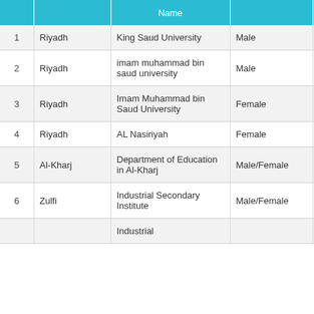|  |  | Name |  |  |
| --- | --- | --- | --- | --- |
| 1 | Riyadh | King Saud University | Male |  |
| 2 | Riyadh | imam muhammad bin saud university | Male |  |
| 3 | Riyadh | Imam Muhammad bin Saud University | Female |  |
| 4 | Riyadh | AL Nasiriyah | Female |  |
| 5 | Al-Kharj | Department of Education in Al-Kharj | Male/Female |  |
| 6 | Zulfi | Industrial Secondary Institute | Male/Female |  |
| 7 |  | Industrial... |  |  |